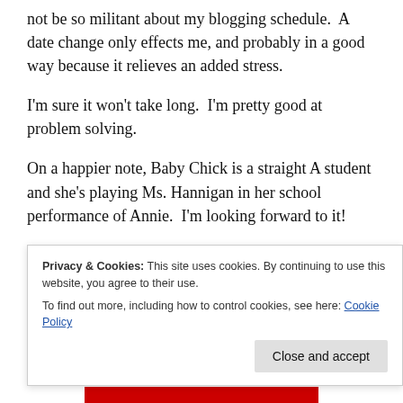not be so militant about my blogging schedule.  A date change only effects me, and probably in a good way because it relieves an added stress.
I'm sure it won't take long.  I'm pretty good at problem solving.
On a happier note, Baby Chick is a straight A student and she's playing Ms. Hannigan in her school performance of Annie.  I'm looking forward to it!
Thanks for listening to me blabber on.
Privacy & Cookies: This site uses cookies. By continuing to use this website, you agree to their use.
To find out more, including how to control cookies, see here: Cookie Policy
Close and accept
Advertisements